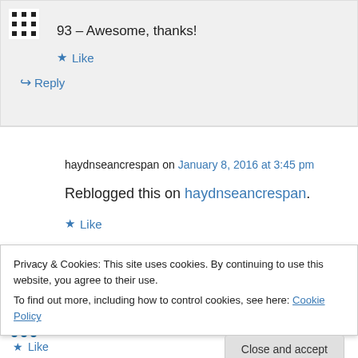93 – Awesome, thanks!
★ Like
↪ Reply
haydnseancrespan on January 8, 2016 at 3:45 pm
Reblogged this on haydnseancrespan.
★ Like
Privacy & Cookies: This site uses cookies. By continuing to use this website, you agree to their use. To find out more, including how to control cookies, see here: Cookie Policy
Close and accept
★ Like